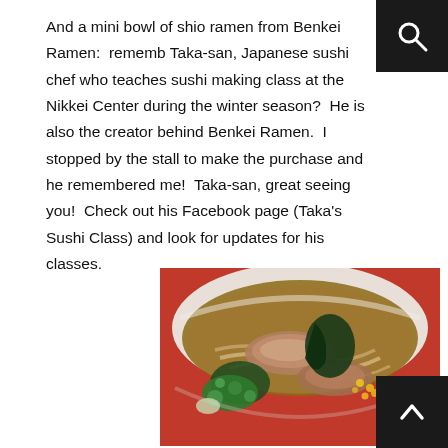And a mini bowl of shio ramen from Benkei Ramen:  remember Taka-san, Japanese sushi chef who teaches sushi making class at the Nikkei Center during the winter season?  He is also the creator behind Benkei Ramen.  I stopped by the stall to make the purchase and he remembered me!  Taka-san, great seeing you!  Check out his Facebook page (Taka's Sushi Class) and look for updates for his classes.
[Figure (photo): A close-up photo of a bowl of shio ramen from Benkei Ramen, showing noodles, green onions, seaweed (wakame), corn, and broth in a white bowl on a red surface.]